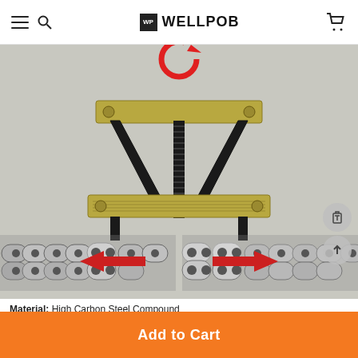WELLPOB
[Figure (photo): Product photo of a chain link press/separator tool with black metal frame and gold/brass-colored crossbars and a threaded black center screw. Two bicycle/chain links are shown at the bottom being pressed together, with red arrows indicating the direction of force. A red circular arrow appears at the top suggesting rotation.]
Material: High Carbon Steel Compound
Add to Cart